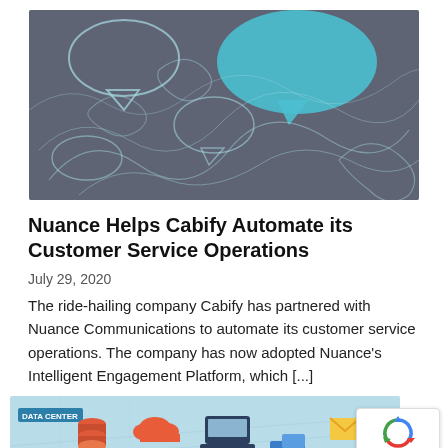[Figure (illustration): Dark gray banner with teal and light blue speech bubble outlines and swirling line patterns on a dark background. One large solid teal speech bubble is prominent.]
Nuance Helps Cabify Automate its Customer Service Operations
July 29, 2020
The ride-hailing company Cabify has partnered with Nuance Communications to automate its customer service operations. The company has now adopted Nuance's Intelligent Engagement Platform, which [...]
[Figure (illustration): Isometric illustration of a data center with colorful icons including servers, cloud, mobile devices, vehicles, and other technology elements on a light blue background with 'DATA CENTER' label.]